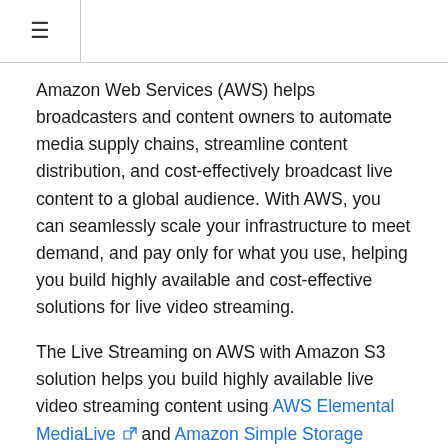≡
Amazon Web Services (AWS) helps broadcasters and content owners to automate media supply chains, streamline content distribution, and cost-effectively broadcast live content to a global audience. With AWS, you can seamlessly scale your infrastructure to meet demand, and pay only for what you use, helping you build highly available and cost-effective solutions for live video streaming.
The Live Streaming on AWS with Amazon S3 solution helps you build highly available live video streaming content using AWS Elemental MediaLive and Amazon Simple Storage Service (Amazon S3) services to deliver resilient and secure real-time viewing experiences to your customers.
This solution is used only during the live event. When